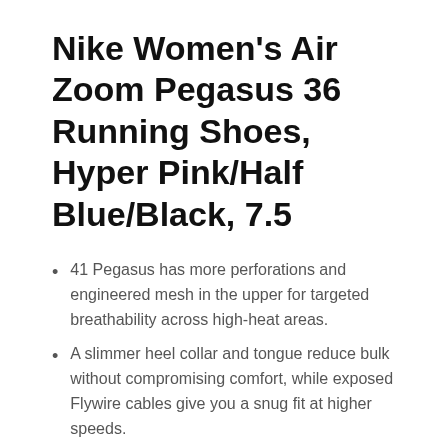Nike Women's Air Zoom Pegasus 36 Running Shoes, Hyper Pink/Half Blue/Black, 7.5
41 Pegasus has more perforations and engineered mesh in the upper for targeted breathability across high-heat areas.
A slimmer heel collar and tongue reduce bulk without compromising comfort, while exposed Flywire cables give you a snug fit at higher speeds.
Full-length Zoom Air unit provides a smooth, responsive ride.